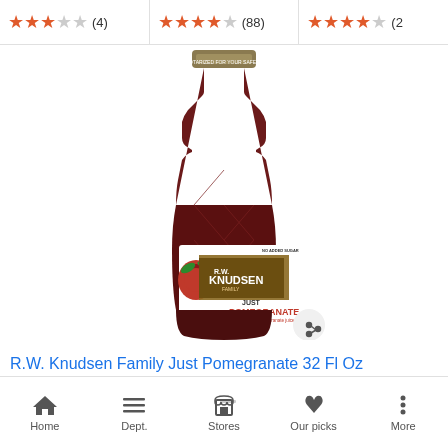[Figure (screenshot): Ratings bar showing three product ratings: 3 stars (4 reviews), 4 stars (88 reviews), and 4 stars (2+ reviews, partially cut off)]
[Figure (photo): R.W. Knudsen Family Just Pomegranate 32 Fl Oz juice bottle with dark red/maroon liquid, diamond-pattern glass bottle, label showing pomegranate fruit image and text: JUST POMEGRANATE, 100% premium pomegranate juice from concentrate, NO ADDED SUGAR]
R.W. Knudsen Family Just Pomegranate 32 Fl Oz
Home  Dept.  Stores  Our picks  More